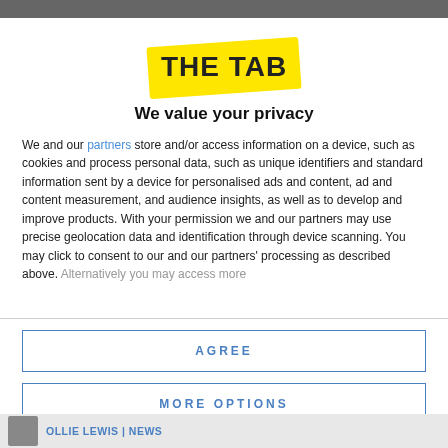[Figure (logo): The Tab logo: yellow diagonal banner with bold dark text 'THE TAB']
We value your privacy
We and our partners store and/or access information on a device, such as cookies and process personal data, such as unique identifiers and standard information sent by a device for personalised ads and content, ad and content measurement, and audience insights, as well as to develop and improve products. With your permission we and our partners may use precise geolocation data and identification through device scanning. You may click to consent to our and our partners' processing as described above. Alternatively you may access more
AGREE
MORE OPTIONS
OLLIE LEWIS | NEWS